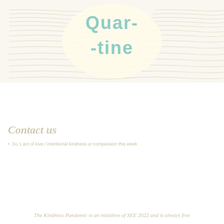[Figure (illustration): Faded background image showing wavy horizontal lines suggesting a landscape or ocean, with a light yellow central area containing large stylized text reading 'Quar-tine' in teal/green color. The overall image is very light and washed out.]
Contact us
Do 1 act of love / intentional kindness or compassion this week
The Kindness Pandemic is an initiative of SEE 2022 and is always free